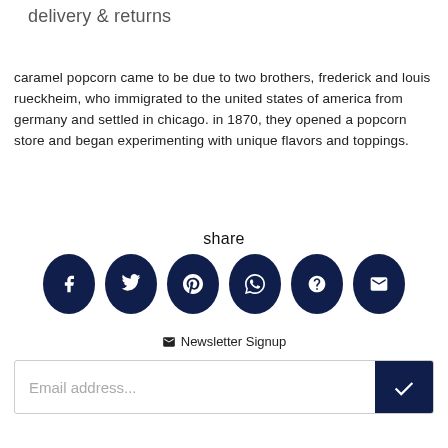delivery & returns
caramel popcorn came to be due to two brothers, frederick and louis rueckheim, who immigrated to the united states of america from germany and settled in chicago. in 1870, they opened a popcorn store and began experimenting with unique flavors and toppings.
share
[Figure (infographic): Six dark navy oval/circle social share icons: Facebook (f), Twitter (bird), Pinterest (p), WhatsApp (speech bubble), unknown (?), Email (envelope)]
✉ Newsletter Signup
Email address...